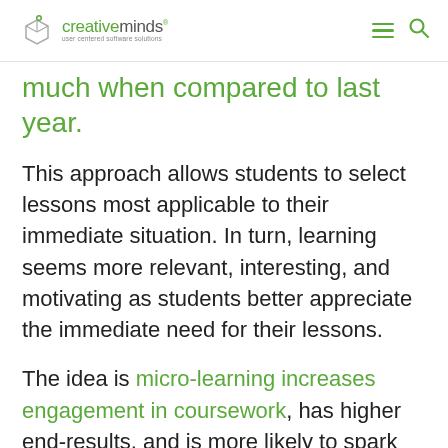creativeminds – user centered software solutions
much when compared to last year.
This approach allows students to select lessons most applicable to their immediate situation. In turn, learning seems more relevant, interesting, and motivating as students better appreciate the immediate need for their lessons.
The idea is micro-learning increases engagement in coursework, has higher end-results, and is more likely to spark additional educational pursuits.